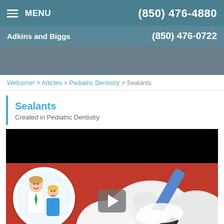MENU | (850) 476-4880
Adkins and Biggs | (850) 476-0722
Welcome! > Articles > Pediatric Dentistry > Sealants
Sealants
Created in Pediatric Dentistry
[Figure (screenshot): Video thumbnail showing a dental sealant procedure with a blue dental tool applying white sealant to a tooth, with a circular inset showing a cartoon doctor and child patient. A play button overlay is visible in the center, and an Accessibility View bar at the bottom right.]